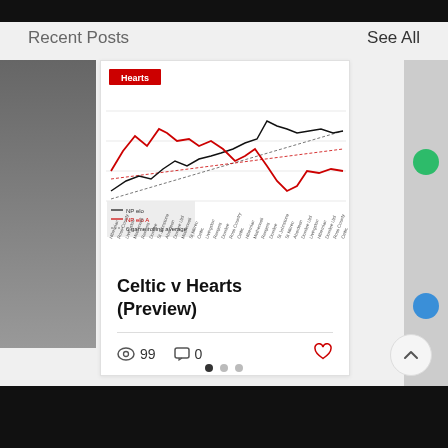Recent Posts
See All
[Figure (line-chart): Line chart showing NP elo and NP elo A metrics with 6-game rolling average for Hearts football club across multiple Scottish Premiership opponents. Red line (Hearts NP elo A) and black line with trend lines shown.]
Celtic v Hearts (Preview)
99
0